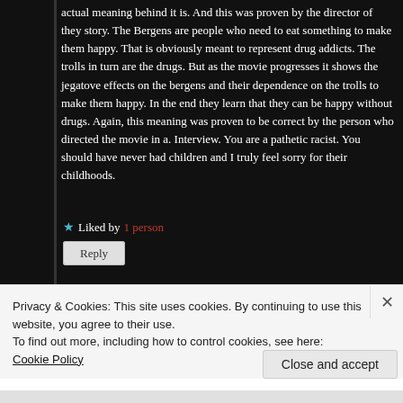actual meaning behind it is. And this was proven by the director of they story. The Bergens are people who need to eat something to make them happy. That is obviously meant to represent drug addicts. The trolls in turn are the drugs. But as the movie progresses it shows the jegatove effects on the bergens and their dependence on the trolls to make them happy. In the end they learn that they can be happy without drugs. Again, this meaning was proven to be correct by the person who directed the movie in a. Interview. You are a pathetic racist. You should have never had children and I truly feel sorry for their childhoods.
★ Liked by 1 person
Reply
Privacy & Cookies: This site uses cookies. By continuing to use this website, you agree to their use.
To find out more, including how to control cookies, see here: Cookie Policy
Close and accept